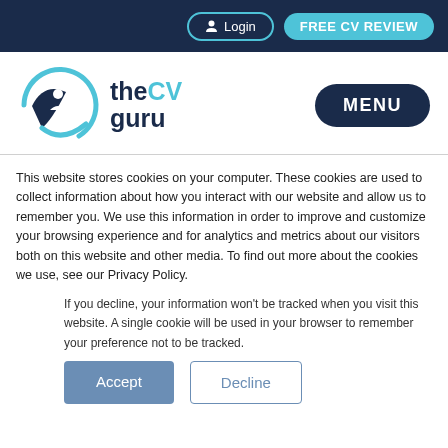Login  FREE CV REVIEW
[Figure (logo): The CV Guru logo with circular swoosh icon and MENU button]
This website stores cookies on your computer. These cookies are used to collect information about how you interact with our website and allow us to remember you. We use this information in order to improve and customize your browsing experience and for analytics and metrics about our visitors both on this website and other media. To find out more about the cookies we use, see our Privacy Policy.
If you decline, your information won't be tracked when you visit this website. A single cookie will be used in your browser to remember your preference not to be tracked.
Accept  Decline